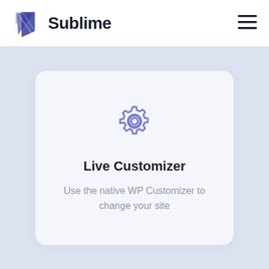[Figure (logo): Sublime brand logo with diagonal stripe icon and text 'Sublime']
[Figure (illustration): Hamburger menu icon (three horizontal lines) in top right of header]
[Figure (illustration): Gear/settings icon in purple/violet color centered in white card]
Live Customizer
Use the native WP Customizer to change your site